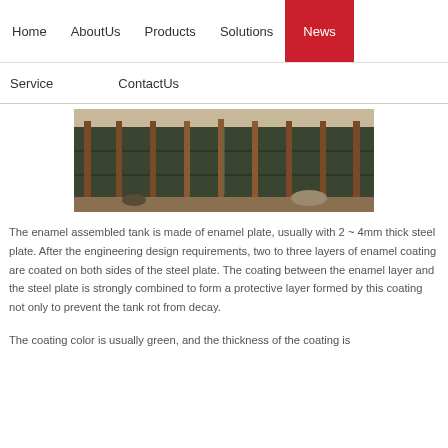Home   AboutUs   Products   Solutions   News   Service   ContactUs
[Figure (photo): Photograph of a large dark green enamel assembled tank under construction outdoors, showing cylindrical steel panels with vertical support pillars, workers visible at base]
The enamel assembled tank is made of enamel plate, usually with 2 ~ 4mm thick steel plate. After the engineering design requirements, two to three layers of enamel coating are coated on both sides of the steel plate. The coating between the enamel layer and the steel plate is strongly combined to form a protective layer formed by this coating not only to prevent the tank rot from decay.
The coating color is usually green, and the thickness of the coating is